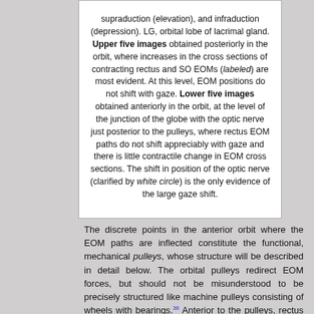supraduction (elevation), and infraduction (depression). LG, orbital lobe of lacrimal gland. Upper five images obtained posteriorly in the orbit, where increases in the cross sections of contracting rectus and SO EOMs (labeled) are most evident. At this level, EOM positions do not shift with gaze. Lower five images obtained anteriorly in the orbit, at the level of the junction of the globe with the optic nerve just posterior to the pulleys, where rectus EOM paths do not shift appreciably with gaze and there is little contractile change in EOM cross sections. The shift in position of the optic nerve (clarified by white circle) is the only evidence of the large gaze shift.
The discrete points in the anterior orbit where the EOM paths are inflected constitute the functional, mechanical pulleys, whose structure will be described in detail below. The orbital pulleys redirect EOM forces, but should not be misunderstood to be precisely structured like machine pulleys consisting of wheels with bearings.36 Anterior to the pulleys, rectus EOM paths shift, sharply when necessary, to follow the scleral insertions in eccentric positions of gaze. The pulleys thus act as functional mechanical insertions of the rectus EOMs. The pulling direction of each EOM is thus defined by the line segment connecting the EOM's scleral insertion to the respective pulley, so that the location of the pulley defines EOM pulling direction. Posterior to the pulleys, rectus EOM paths do not shift appreciably...